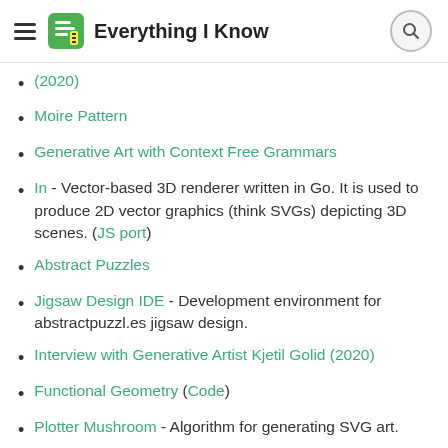Everything I Know
(2020)
Moire Pattern
Generative Art with Context Free Grammars
In - Vector-based 3D renderer written in Go. It is used to produce 2D vector graphics (think SVGs) depicting 3D scenes. (JS port)
Abstract Puzzles
Jigsaw Design IDE - Development environment for abstractpuzzl.es jigsaw design.
Interview with Generative Artist Kjetil Golid (2020)
Functional Geometry (Code)
Plotter Mushroom - Algorithm for generating SVG art.